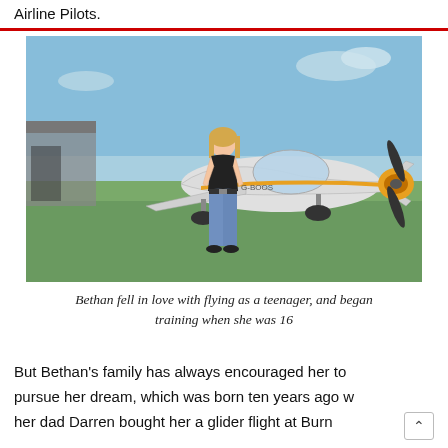Airline Pilots.
[Figure (photo): A young woman standing in front of a small light aircraft (white with yellow/orange accent stripe and spinner) on a grass airfield on a sunny day. She is wearing jeans and a black tank top.]
Bethan fell in love with flying as a teenager, and began training when she was 16
But Bethan's family has always encouraged her to pursue her dream, which was born ten years ago w her dad Darren bought her a glider flight at Burn